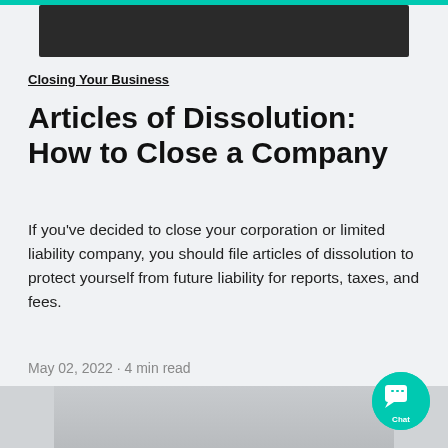[Figure (photo): Dark header image at top of article page]
Closing Your Business
Articles of Dissolution: How to Close a Company
If you've decided to close your corporation or limited liability company, you should file articles of dissolution to protect yourself from future liability for reports, taxes, and fees.
May 02, 2022 · 4 min read
[Figure (photo): Bottom article image showing people]
[Figure (other): Chat button widget in bottom right corner]